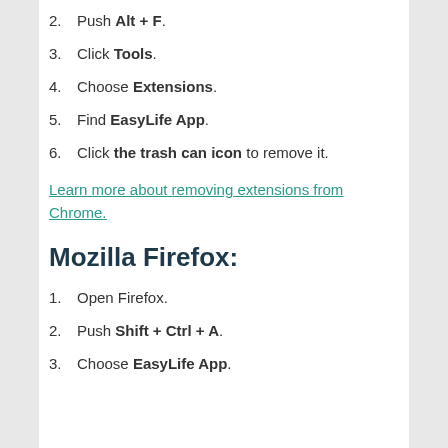2. Push Alt + F.
3. Click Tools.
4. Choose Extensions.
5. Find EasyLife App.
6. Click the trash can icon to remove it.
Learn more about removing extensions from Chrome.
Mozilla Firefox:
1. Open Firefox.
2. Push Shift + Ctrl + A.
3. Choose EasyLife App.